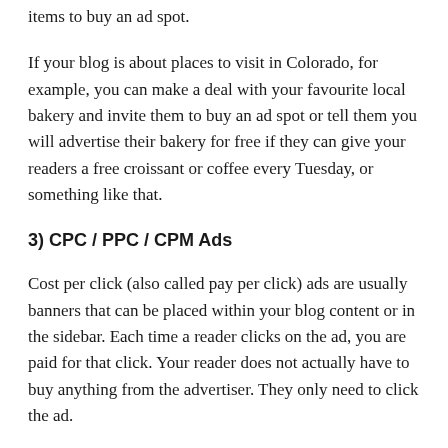items to buy an ad spot.
If your blog is about places to visit in Colorado, for example, you can make a deal with your favourite local bakery and invite them to buy an ad spot or tell them you will advertise their bakery for free if they can give your readers a free croissant or coffee every Tuesday, or something like that.
3) CPC / PPC / CPM Ads
Cost per click (also called pay per click) ads are usually banners that can be placed within your blog content or in the sidebar. Each time a reader clicks on the ad, you are paid for that click. Your reader does not actually have to buy anything from the advertiser. They only need to click the ad.
CPM Ads (“cost per 1,000 impressions,”) on the other hand are ads that pay you a fixed amount of money based on how many people view your ad. This is great if you have a high traffic blog.